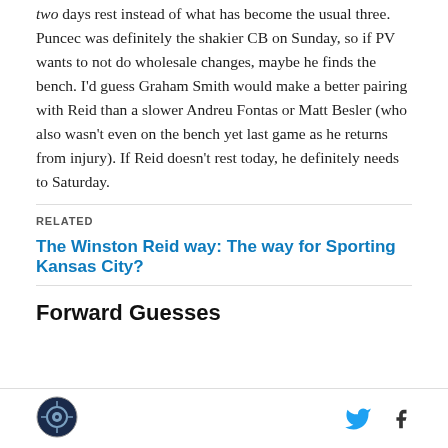two days rest instead of what has become the usual three. Puncec was definitely the shakier CB on Sunday, so if PV wants to not do wholesale changes, maybe he finds the bench. I'd guess Graham Smith would make a better pairing with Reid than a slower Andreu Fontas or Matt Besler (who also wasn't even on the bench yet last game as he returns from injury). If Reid doesn't rest today, he definitely needs to Saturday.
RELATED
The Winston Reid way: The way for Sporting Kansas City?
Forward Guesses
[Figure (logo): Circular logo with dark blue background and camera/eye design]